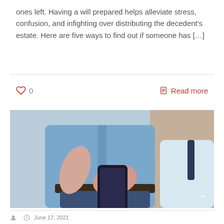ones left. Having a will prepared helps alleviate stress, confusion, and infighting over distributing the decedent's estate. Here are five ways to find out if someone has […]
[Figure (photo): Two men in business shirts, one holding a smartphone and the other pointing at it]
0   Read more